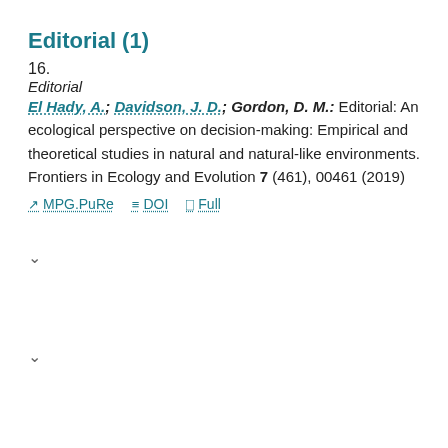Editorial (1)
16.
Editorial
El Hady, A.; Davidson, J. D.; Gordon, D. M.: Editorial: An ecological perspective on decision-making: Empirical and theoretical studies in natural and natural-like environments. Frontiers in Ecology and Evolution 7 (461), 00461 (2019)
MPG.PuRe   DOI   Full